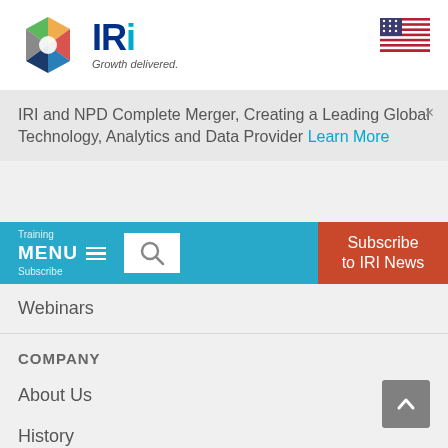[Figure (logo): IRI company logo with colorful hexagon and text 'IRi Growth delivered.']
[Figure (logo): US flag icon in top right corner]
IRI and NPD Complete Merger, Creating a Leading Global Technology, Analytics and Data Provider Learn More ×
MENU ≡   Training  Subscribe
[Figure (other): Search icon button]
Subscribe to IRI News
Webinars
COMPANY
About Us
History
Leadership